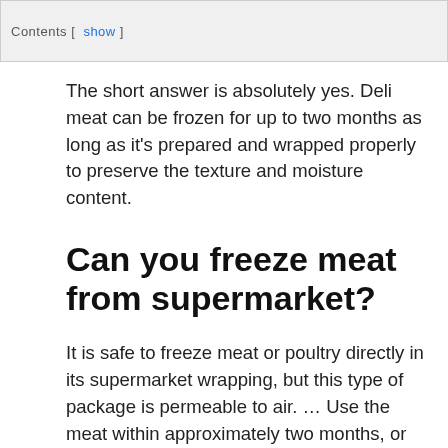Contents [ show ]
The short answer is absolutely yes. Deli meat can be frozen for up to two months as long as it's prepared and wrapped properly to preserve the texture and moisture content.
Can you freeze meat from supermarket?
It is safe to freeze meat or poultry directly in its supermarket wrapping, but this type of package is permeable to air. ... Use the meat within approximately two months, or overwrap the package with airtight heavy-duty foil, freezer wrap, or a freezer zip-lock bag.